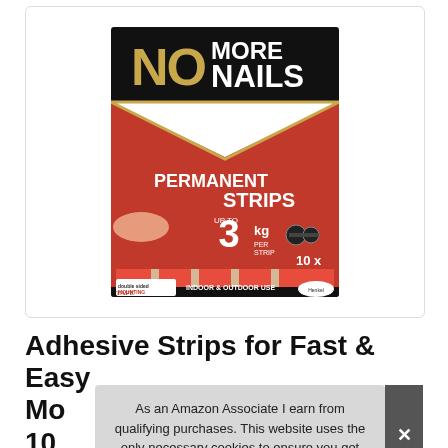[Figure (photo): No More Nails product packaging — red and black box showing Permanent Strips, up to 3kg per strip, 10x double sided mounting tape, indoor & outdoor use, Henkel brand]
Adhesive Strips for Fast & Easy Mounting 10 Int
As an Amazon Associate I earn from qualifying purchases. This website uses the only necessary cookies to ensure you get the best experience on our website. More information